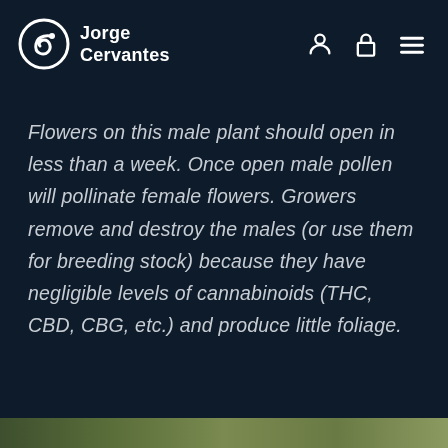Jorge Cervantes
Flowers on this male plant should open in less than a week. Once open male pollen will pollinate female flowers. Growers remove and destroy the males (or use them for breeding stock) because they have negligible levels of cannabinoids (THC, CBD, CBG, etc.) and produce little foliage.